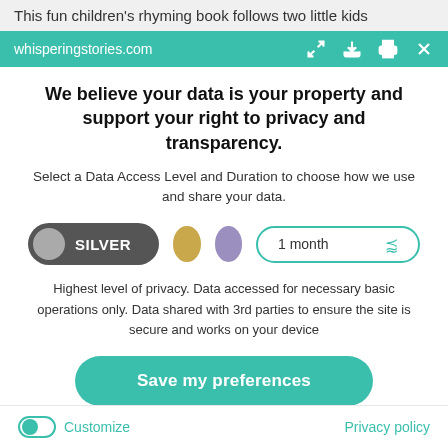This fun children's rhyming book follows two little kids
whisperingstories.com
We believe your data is your property and support your right to privacy and transparency.
Select a Data Access Level and Duration to choose how we use and share your data.
[Figure (infographic): Privacy level selector with SILVER toggle active, gold dot, purple dot, and 1 month duration dropdown]
Highest level of privacy. Data accessed for necessary basic operations only. Data shared with 3rd parties to ensure the site is secure and works on your device
Save my preferences
Customize   Privacy policy